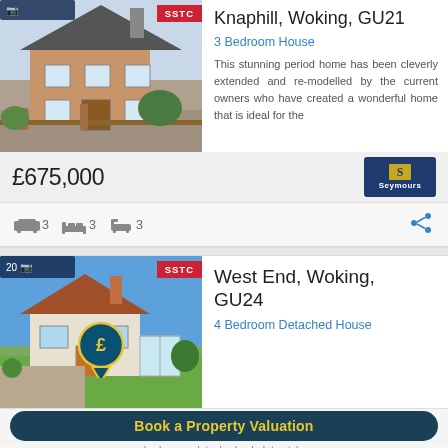Knaphill, Woking, GU21
3 Bedroom House
This stunning period home has been cleverly extended and re-modelled by the current owners who have created a wonderful home that is ideal for the
£675,000
[Figure (photo): Photo of a brick period house with wooden gate, SSTC red banner]
3  3  3
West End, Woking, GU24
4 Bedroom Detached House
[Figure (photo): Photo of a detached chalet style house with garden]
Book a Property Valuation
bedroom  detached  chalet  style